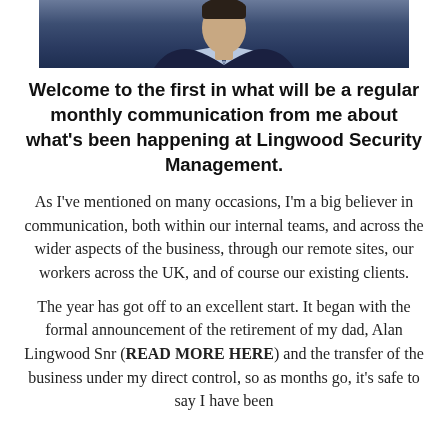[Figure (photo): Cropped photo of a man in a dark suit, visible from shoulders up, wearing a light blue shirt, dark background]
Welcome to the first in what will be a regular monthly communication from me about what's been happening at Lingwood Security Management.
As I've mentioned on many occasions, I'm a big believer in communication, both within our internal teams, and across the wider aspects of the business, through our remote sites, our workers across the UK, and of course our existing clients.
The year has got off to an excellent start. It began with the formal announcement of the retirement of my dad, Alan Lingwood Snr (READ MORE HERE) and the transfer of the business under my direct control, so as months go, it's safe to say I have been